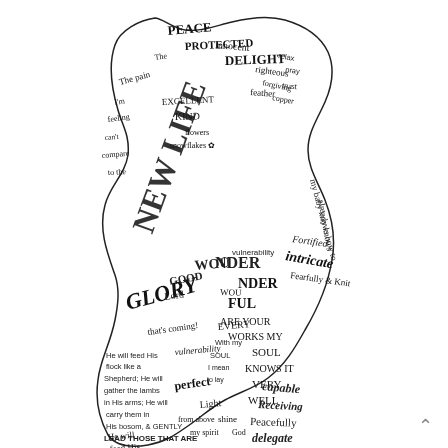[Figure (illustration): A hand-drawn illustration in the shape of a pregnant woman's silhouette, filled with handwritten words, phrases, and scripture. Visible text includes: PEACE, PROTECTED, DELIGHT, NEW LIFE, GLORY, that's coming, vulnerability, WONDERFUL, EVERY, ARE YOUR WORKS MY SOUL KNOWS IT VERY WELL, intricate, Fearfully & Knit, FORTIFIED, perfect light, from above, my spirit, shine, God, He will feed His flock like a Shepherd; He will gather the lambs in His arms; He will carry them in His bosom, & GENTLY LEAD THOSE THAT ARE WITH YOUNG. Isaiah 40:11, He LOVES EVERY DETAIL, The pain, I'm feeling, can't compare, to the joy, GOOD Lord, He will, subsist, capable, Receiving, Delegate, Peacefully, all things]